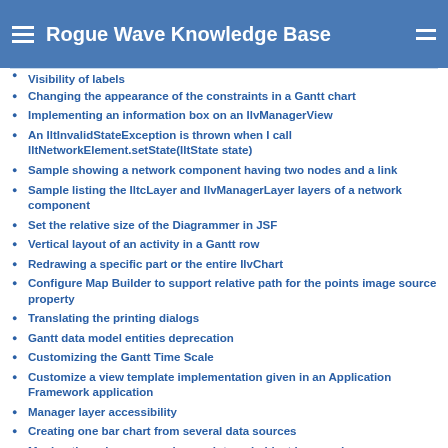Rogue Wave Knowledge Base
Visibility of labels
Changing the appearance of the constraints in a Gantt chart
Implementing an information box on an IlvManagerView
An IltInvalidStateException is thrown when I call IltNetworkElement.setState(IltState state)
Sample showing a network component having two nodes and a link
Sample listing the IltcLayer and IlvManagerLayer layers of a network component
Set the relative size of the Diagrammer in JSF
Vertical layout of an activity in a Gantt row
Redrawing a specific part or the entire IlvChart
Configure Map Builder to support relative path for the points image source property
Translating the printing dialogs
Gantt data model entities deprecation
Customizing the Gantt Time Scale
Customize a view template implementation given in an Application Framework application
Manager layer accessibility
Creating one bar chart from several data sources
Moving the submanager when an internal object is moved
Menu-controlled visibility of a prototype having a multirep behavior
Setting margins of a diagram, for example after a graph layout
Diagrammer building based on flat files